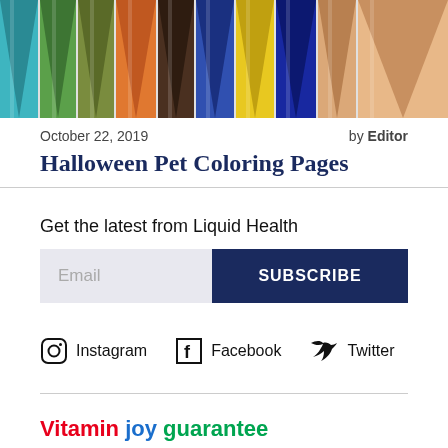[Figure (photo): Row of colored pencil tips pointing upward against white background, in various colors including teal, green, olive, orange, brown, blue, yellow, cobalt blue, and peach/tan.]
October 22, 2019    by Editor
Halloween Pet Coloring Pages
Get the latest from Liquid Health
Email   SUBSCRIBE
Instagram   Facebook   Twitter
Vitamin joy guarantee